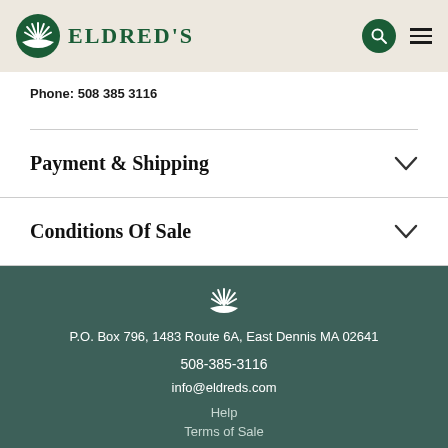ELDRED'S
Phone: 508 385 3116
Payment & Shipping
Conditions Of Sale
P.O. Box 796, 1483 Route 6A, East Dennis MA 02641
508-385-3116
info@eldreds.com
Help
Terms of Sale